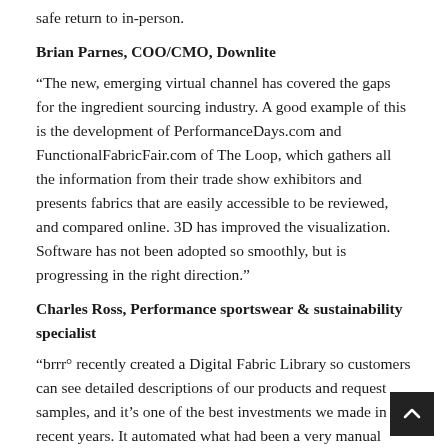safe return to in-person.
Brian Parnes, COO/CMO, Downlite
“The new, emerging virtual channel has covered the gaps for the ingredient sourcing industry. A good example of this is the development of PerformanceDays.com and FunctionalFabricFair.com of The Loop, which gathers all the information from their trade show exhibitors and presents fabrics that are easily accessible to be reviewed, and compared online. 3D has improved the visualization. Software has not been adopted so smoothly, but is progressing in the right direction.”
Charles Ross, Performance sportswear & sustainability specialist
“brrr° recently created a Digital Fabric Library so customers can see detailed descriptions of our products and request samples, and it’s one of the best investments we made in recent years. It automated what had been a very manual